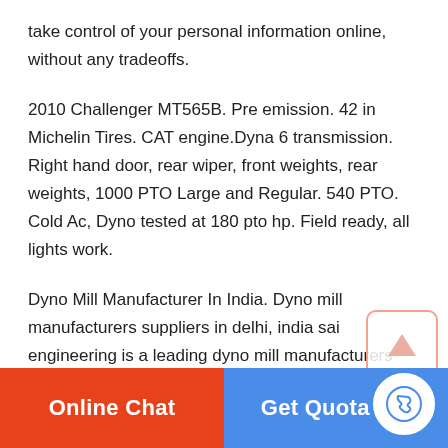take control of your personal information online, without any tradeoffs.
2010 Challenger MT565B. Pre emission. 42 in Michelin Tires. CAT engine.Dyna 6 transmission. Right hand door, rear wiper, front weights, rear weights, 1000 PTO Large and Regular. 540 PTO. Cold Ac, Dyno tested at 180 pto hp. Field ready, all lights work.
Dyno Mill Manufacturer In India. Dyno mill manufacturers suppliers in delhi, india sai engineering is a leading dyno mill manufacturers and suppliers in india. the machines are designed using highgrade quality of raw material which are procured from
[Figure (other): Scroll-up button with orange upward arrow icon]
Online Chat   Get Quotation